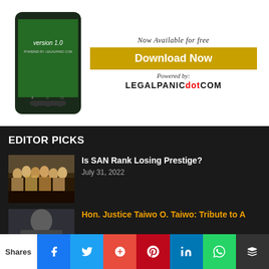[Figure (screenshot): Advertisement banner showing a smartphone with app version 1.0 and download button for LegalPanic.com]
EDITOR PICKS
[Figure (photo): Group of people in robes/wigs seated at a table]
Is SAN Rank Losing Prestige?
July 31, 2022
[Figure (photo): Person in dark clothing]
Hon. Justice Taiwo O. Taiwo: Tribute to A
Shares